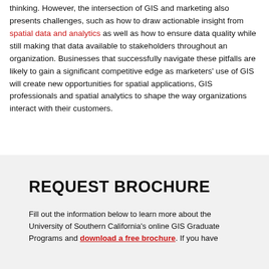thinking. However, the intersection of GIS and marketing also presents challenges, such as how to draw actionable insight from spatial data and analytics as well as how to ensure data quality while still making that data available to stakeholders throughout an organization. Businesses that successfully navigate these pitfalls are likely to gain a significant competitive edge as marketers' use of GIS will create new opportunities for spatial applications, GIS professionals and spatial analytics to shape the way organizations interact with their customers.
REQUEST BROCHURE
Fill out the information below to learn more about the University of Southern California's online GIS Graduate Programs and download a free brochure. If you have